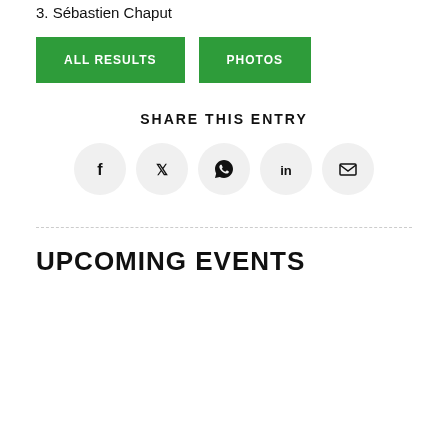3. Sébastien Chaput
ALL RESULTS
PHOTOS
SHARE THIS ENTRY
[Figure (infographic): Five social share icon circles: Facebook (f), Twitter bird, WhatsApp, LinkedIn (in), Email (envelope)]
UPCOMING EVENTS